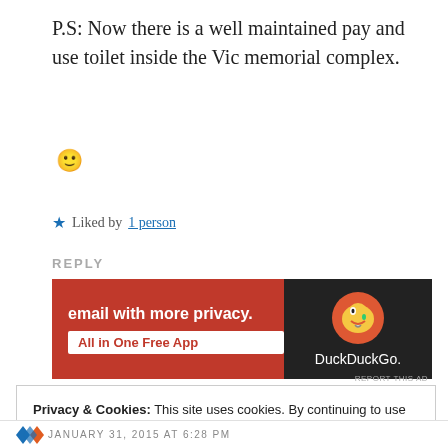P.S: Now there is a well maintained pay and use toilet inside the Vic memorial complex. 🙂
★ Liked by 1 person
REPLY
[Figure (screenshot): DuckDuckGo advertisement banner: orange left panel with text 'email with more privacy. All in One Free App' and dark right panel with DuckDuckGo duck logo and brand name.]
REPORT THIS AD
Privacy & Cookies: This site uses cookies. By continuing to use this website, you agree to their use.
To find out more, including how to control cookies, see here: Cookie Policy
Close and accept
JANUARY 31, 2015 AT 6:28 PM